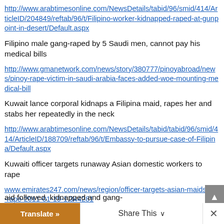http://www.arabtimesonline.com/NewsDetails/tabid/96/smid/414/ArticleID/204849/reftab/96/t/Filipino-worker-kidnapped-raped-at-gunpoint-in-desert/Default.aspx
Filipino male gang-raped by 5 Saudi men, cannot pay his medical bills
http://www.gmanetwork.com/news/story/380777/pinoyabroad/news/pinoy-rape-victim-in-saudi-arabia-faces-added-woe-mounting-medical-bill
Kuwait lance corporal kidnaps a Filipina maid, rapes her and stabs her repeatedly in the neck
http://www.arabtimesonline.com/NewsDetails/tabid/96/smid/414/ArticleID/188709/reftab/96/t/Embassy-to-pursue-case-of-Filipina/Default.aspx
Kuwaiti officer targets runaway Asian domestic workers to rape
www.emirates247.com/news/region/officer-targets-asian-maids-for-rape-2011-01-19-1.344281
Translate »   Share This ∨   ×
aid followed, kidnapped and gang-